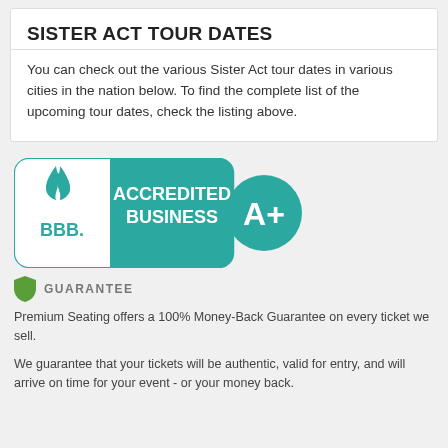SISTER ACT TOUR DATES
You can check out the various Sister Act tour dates in various cities in the nation below. To find the complete list of the upcoming tour dates, check the listing above.
[Figure (logo): BBB Accredited Business A+ rating logo. Left portion shows BBB torch flame icon in teal with 'BBB.' text below on white background with teal border. Right portion is teal rectangle with white text 'ACCREDITED BUSINESS'. To the right is a teal circle with white 'A+' text.]
GUARANTEE
Premium Seating offers a 100% Money-Back Guarantee on every ticket we sell.
We guarantee that your tickets will be authentic, valid for entry, and will arrive on time for your event - or your money back.